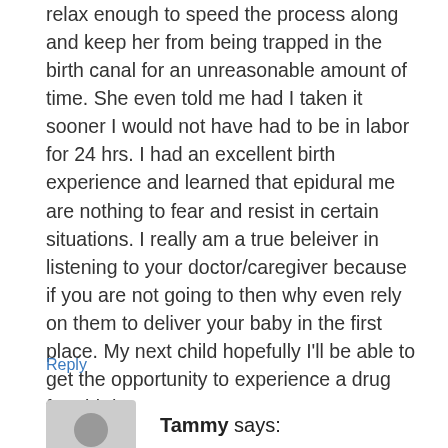relax enough to speed the process along and keep her from being trapped in the birth canal for an unreasonable amount of time. She even told me had I taken it sooner I would not have had to be in labor for 24 hrs. I had an excellent birth experience and learned that epidural me are nothing to fear and resist in certain situations. I really am a true beleiver in listening to your doctor/caregiver because if you are not going to then why even rely on them to deliver your baby in the first place. My next child hopefully I'll be able to get the opportunity to experience a drug free birth.
Reply
[Figure (illustration): Generic grey avatar silhouette of a person for a blog comment]
Tammy says: